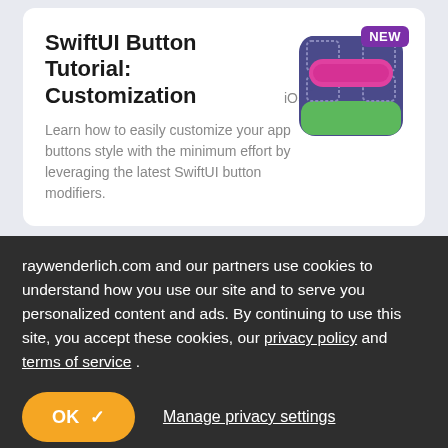SwiftUI Button Tutorial: Customization
iOS & Swift
Learn how to easily customize your app buttons style with the minimum effort by leveraging the latest SwiftUI button modifiers.
[Figure (illustration): App icon with colorful UI elements (pills, squares in purple, pink, green) with a 'NEW' badge in purple at top right]
raywenderlich.com and our partners use cookies to understand how you use our site and to serve you personalized content and ads. By continuing to use this site, you accept these cookies, our privacy policy and terms of service .
OK ✓
Manage privacy settings